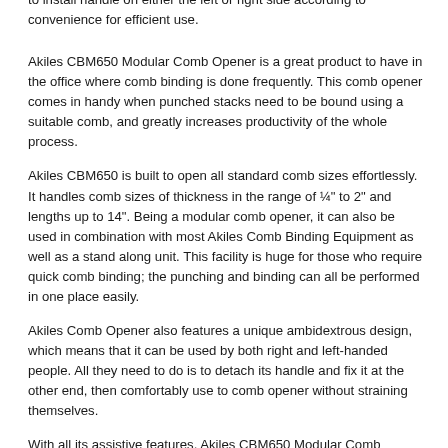to install handle on either the left or right side according to convenience for efficient use.
Akiles CBM650 Modular Comb Opener is a great product to have in the office where comb binding is done frequently. This comb opener comes in handy when punched stacks need to be bound using a suitable comb, and greatly increases productivity of the whole process.
Akiles CBM650 is built to open all standard comb sizes effortlessly. It handles comb sizes of thickness in the range of ¼" to 2" and lengths up to 14". Being a modular comb opener, it can also be used in combination with most Akiles Comb Binding Equipment as well as a stand along unit. This facility is huge for those who require quick comb binding; the punching and binding can all be performed in one place easily.
Akiles Comb Opener also features a unique ambidextrous design, which means that it can be used by both right and left-handed people. All they need to do is to detach its handle and fix it at the other end, then comfortably use to comb opener without straining themselves.
With all its assistive features, Akiles CBM650 Modular Comb